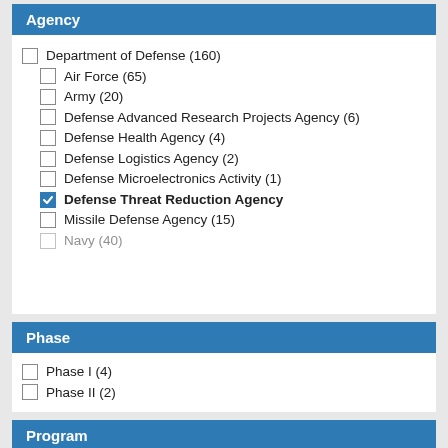Agency
Department of Defense (160)
Air Force (65)
Army (20)
Defense Advanced Research Projects Agency (6)
Defense Health Agency (4)
Defense Logistics Agency (2)
Defense Microelectronics Activity (1)
Defense Threat Reduction Agency
Missile Defense Agency (15)
Navy (40)
Phase
Phase I (4)
Phase II (2)
Program
SBIR (16)